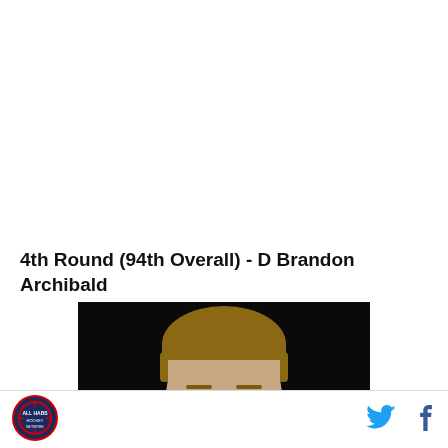4th Round (94th Overall) - D Brandon Archibald
[Figure (photo): Close-up photo of a young man with short brown hair against a dark/black background, cropped at eye level]
[Figure (logo): Circular sports team logo with dark blue and red colors]